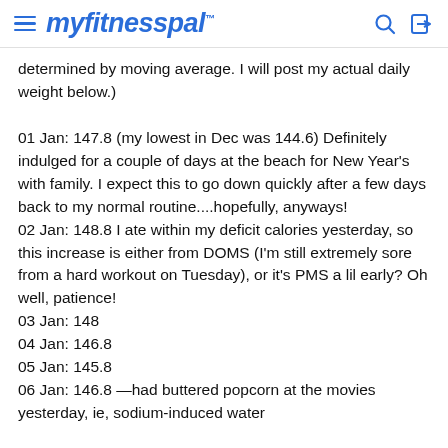myfitnesspal
determined by moving average. I will post my actual daily weight below.)

01 Jan: 147.8 (my lowest in Dec was 144.6) Definitely indulged for a couple of days at the beach for New Year's with family. I expect this to go down quickly after a few days back to my normal routine....hopefully, anyways!
02 Jan: 148.8 I ate within my deficit calories yesterday, so this increase is either from DOMS (I'm still extremely sore from a hard workout on Tuesday), or it's PMS a lil early? Oh well, patience!
03 Jan: 148
04 Jan: 146.8
05 Jan: 145.8
06 Jan: 146.8 —had buttered popcorn at the movies yesterday, ie, sodium-induced water